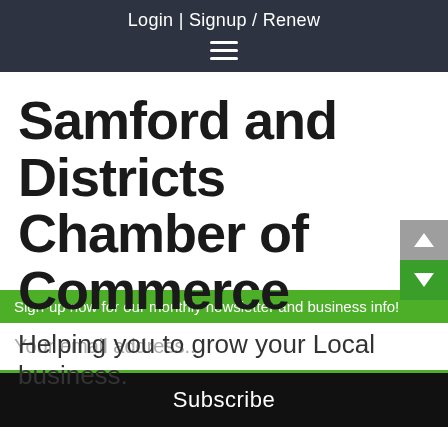Login | Signup / Renew
Samford and Districts Chamber of Commerce
Helping you to grow your Local business.
Sign-up now for our monthly newsletter and business info!
Your email address..
Subscribe